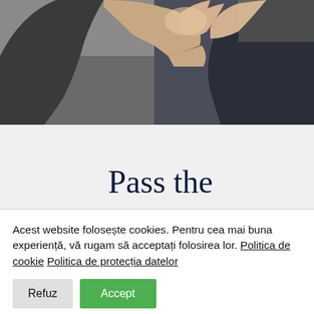[Figure (photo): Two people doing a high-five hand gesture, one wearing a dark grey hoodie, photographed from below against a blurred outdoor background.]
Pass the
Acest website folosește cookies. Pentru cea mai buna experiență, vă rugam să acceptați folosirea lor. Politica de cookie Politica de protecția datelor